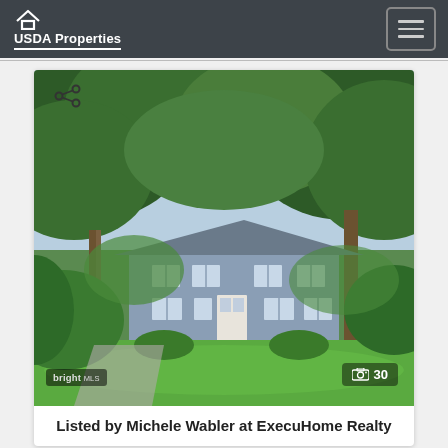USDA Properties
[Figure (photo): Exterior photo of a blue/grey ranch-style house surrounded by large green trees and a green lawn. A share icon appears in the top-left of the image. A camera icon with the number 30 appears in the bottom-right. A 'bright MLS' watermark appears in the bottom-left.]
Listed by Michele Wabler at ExecuHome Realty